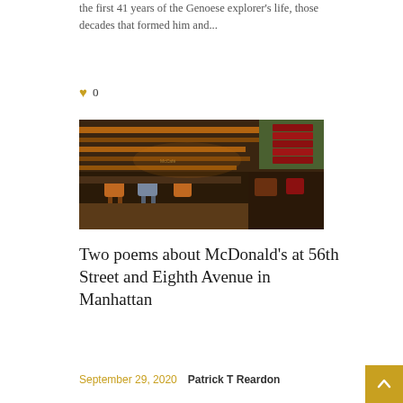the first 41 years of the Genoese explorer's life, those decades that formed him and...
♥ 0
[Figure (photo): Interior of a McDonald's restaurant with warm amber lighting, showing colorful chairs, booths, and shelving units with striped decoration.]
Two poems about McDonald's at 56th Street and Eighth Avenue in Manhattan
September 29, 2020   Patrick T Reardon